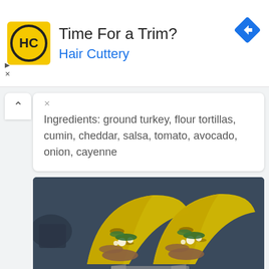[Figure (screenshot): Advertisement banner for Hair Cuttery with yellow logo, text 'Time For a Trim?' and 'Hair Cuttery' in blue, and a blue navigation arrow icon]
Ingredients: ground turkey, flour tortillas, cumin, cheddar, salsa, tomato, avocado, onion, cayenne
[Figure (photo): Photo of two tacos in yellow tortillas filled with ground meat, white cheese crumbles, and green herbs/vegetables, displayed in a metal taco holder on a dark surface]